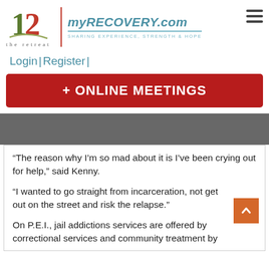[Figure (logo): The Retreat logo with '12' in green and red, swoosh graphic, 'the retreat' text, vertical red divider, myRECOVERY.com in teal italic with 'SHARING EXPERIENCE, STRENGTH & HOPE' subtitle, and hamburger menu icon]
Login | Register |
+ ONLINE MEETINGS
“The reason why I’m so mad about it is I’ve been crying out for help,” said Kenny.
“I wanted to go straight from incarceration, not get out on the street and risk the relapse.”
On P.E.I., jail addictions services are offered by correctional services and community treatment by